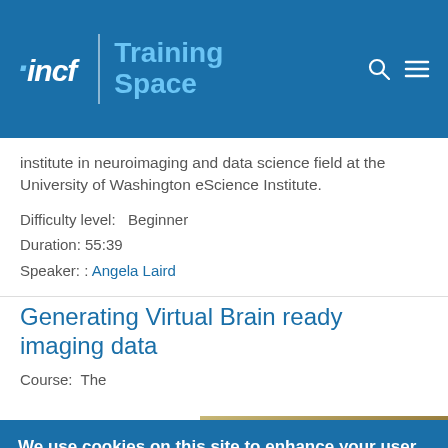incf | Training Space
Institute in neuroimaging and data science field at the University of Washington eScience Institute.
Difficulty level:   Beginner
Duration: 55:39
Speaker: : Angela Laird
Generating Virtual Brain ready imaging data
Course:   The
[Figure (photo): Thumbnail image with brown/tan tones]
We use cookies on this site to enhance your user experience

By clicking any link or button on the website the visitor accepts the cookie policy. More info
Accept
No, thanks